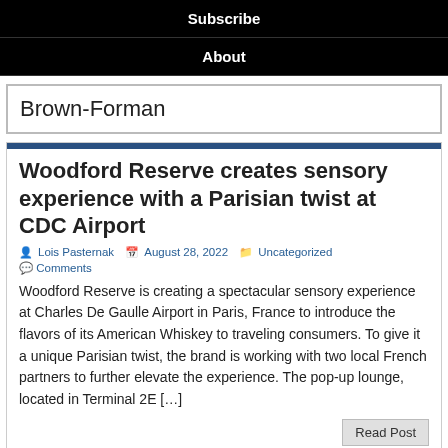Subscribe
About
Brown-Forman
Woodford Reserve creates sensory experience with a Parisian twist at CDC Airport
Lois Pasternak  August 28, 2022  Uncategorized  Comments
Woodford Reserve is creating a spectacular sensory experience at Charles De Gaulle Airport in Paris, France to introduce the flavors of its American Whiskey to traveling consumers. To give it a unique Parisian twist, the brand is working with two local French partners to further elevate the experience. The pop-up lounge, located in Terminal 2E […]